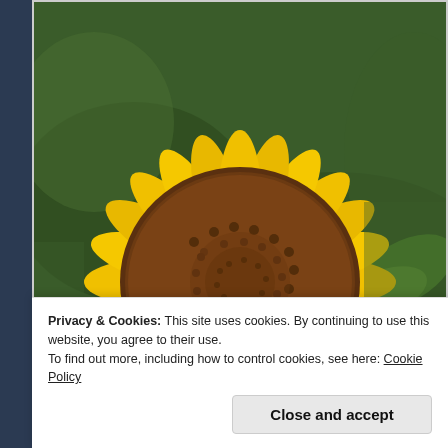[Figure (photo): Close-up photograph of a sunflower with bright yellow petals and a dark brown center, set against a blurred green background.]
(Sunflower)
Privacy & Cookies: This site uses cookies. By continuing to use this website, you agree to their use.
To find out more, including how to control cookies, see here: Cookie Policy
Close and accept